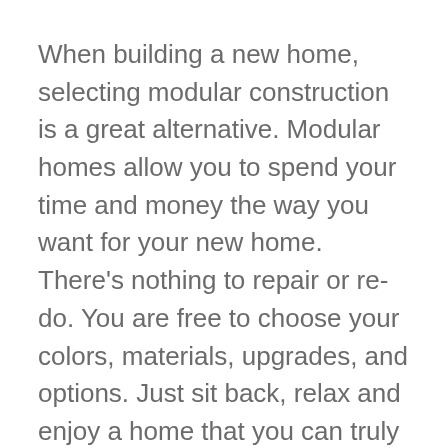When building a new home, selecting modular construction is a great alternative. Modular homes allow you to spend your time and money the way you want for your new home. There's nothing to repair or re-do. You are free to choose your colors, materials, upgrades, and options. Just sit back, relax and enjoy a home that you can truly make your own. You can depend on the fact that building in a controlled environment indoors guarantees you the heathiest home possible. There is no comparison to the quality that factory construction can provide when compared to traditional building outdoors. Because it's been